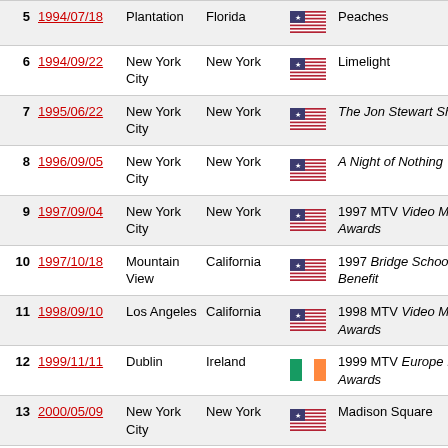| # | Date | City | State/Country | Flag | Venue/Event |
| --- | --- | --- | --- | --- | --- |
| 5 | 1994/07/18 | Plantation | Florida | US | Peaches |
| 6 | 1994/09/22 | New York City | New York | US | Limelight |
| 7 | 1995/06/22 | New York City | New York | US | The Jon Stewart Show |
| 8 | 1996/09/05 | New York City | New York | US | A Night of Nothing |
| 9 | 1997/09/04 | New York City | New York | US | 1997 MTV Video Music Awards |
| 10 | 1997/10/18 | Mountain View | California | US | 1997 Bridge School Benefit |
| 11 | 1998/09/10 | Los Angeles | California | US | 1998 MTV Video Music Awards |
| 12 | 1999/11/11 | Dublin | Ireland | IE | 1999 MTV Europe Music Awards |
| 13 | 2000/05/09 | New York City | New York | US | Madison Square |